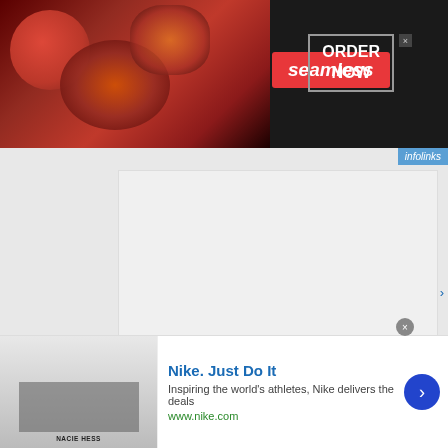[Figure (screenshot): Seamless food delivery banner ad with pizza image, red Seamless badge, ORDER NOW button in box]
[Figure (screenshot): infolinks badge top right]
[Figure (screenshot): White advertisement content area]
[Figure (screenshot): infolinks sidebar badge on left]
Nacie Carson says
FEBRUARY 24, 2010 AT 11:19

My biggest time problem is I get lost in projects and spend too much time on them
[Figure (screenshot): Nike Just Do It advertisement: Inspiring the world's athletes, Nike delivers the deals. www.nike.com]